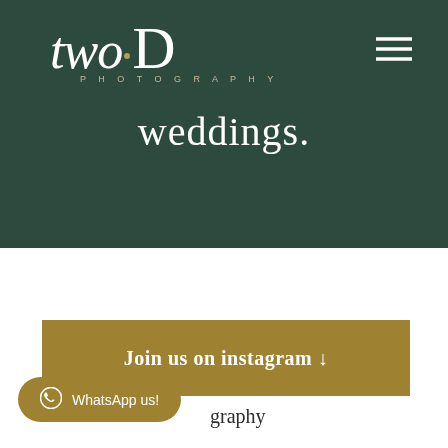[Figure (logo): two·D Photography logo in white and gold on dark green background]
weddings.
[Figure (infographic): Hamburger menu icon (three horizontal lines) in white on dark green background]
Join us on instagram ↓
WhatsApp us!
graphy